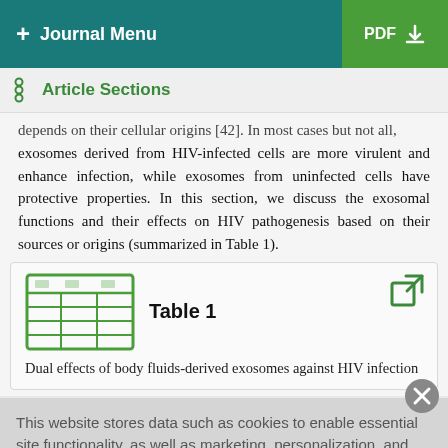+ Journal Menu   PDF ↓
Article Sections
depends on their cellular origins [42]. In most cases but not all, exosomes derived from HIV-infected cells are more virulent and enhance infection, while exosomes from uninfected cells have protective properties. In this section, we discuss the exosomal functions and their effects on HIV pathogenesis based on their sources or origins (summarized in Table 1).
Table 1
Dual effects of body fluids-derived exosomes against HIV infection
This website stores data such as cookies to enable essential site functionality, as well as marketing, personalization, and analytics. By remaining on this website you indicate your consent. Cookie Policy